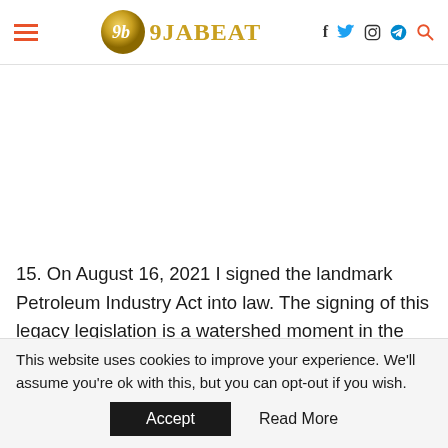9JABEAT — website header with logo and navigation icons
15. On August 16, 2021 I signed the landmark Petroleum Industry Act into law. The signing of this legacy legislation is a watershed moment in the history of our Nation, considering the massive
This website uses cookies to improve your experience. We'll assume you're ok with this, but you can opt-out if you wish. Accept  Read More